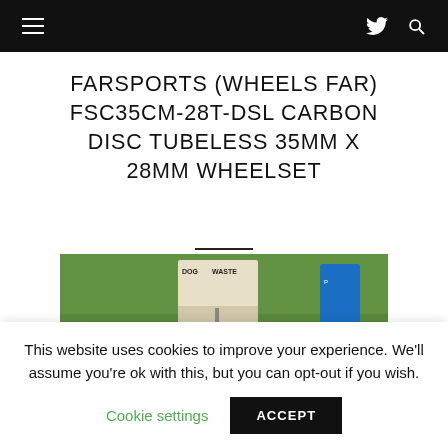Navigation bar with hamburger menu, Twitter icon, and search icon
FARSPORTS (WHEELS FAR) FSC35CM-28T-DSL CARBON DISC TUBELESS 35MM X 28MM WHEELSET
[Figure (photo): A teal/turquoise Specialized S-Works road bike parked next to a 'Dog Waste' sign on a grass area. The bike has orange bar tape and white water bottles.]
This website uses cookies to improve your experience. We'll assume you're ok with this, but you can opt-out if you wish.
Cookie settings  ACCEPT